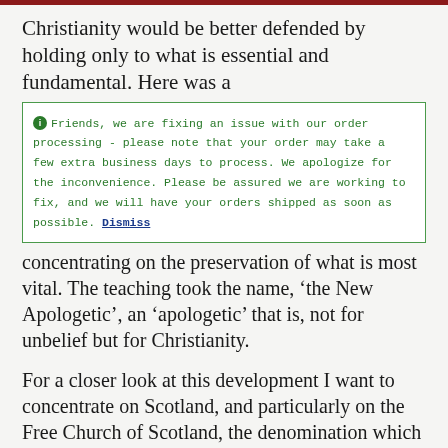Christianity would be better defended by holding only to what is essential and fundamental. Here was a
Friends, we are fixing an issue with our order processing - please note that your order may take a few extra business days to process. We apologize for the inconvenience. Please be assured we are working to fix, and we will have your orders shipped as soon as possible. Dismiss
concentrating on the preservation of what is most vital. The teaching took the name, ‘the New Apologetic’, an ‘apologetic’ that is, not for unbelief but for Christianity.
For a closer look at this development I want to concentrate on Scotland, and particularly on the Free Church of Scotland, the denomination which became the power-house for ideas which would reach all parts of the English-speaking world.
The Free Church of Scotland was formed in 1843 by